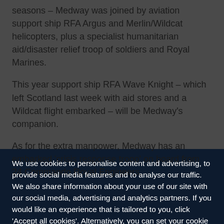seasons – Medway was joined by aviation support ship RFA Argus and Merlin/Wildcat helicopters, plus a specialist humanitarian aid/disaster relief troop of soldiers and Royal Marines.
This year support ship RFA Wave Knight – which left Scotland last week with aid stores and a Wildcat flight embarked – will be Medway's companion.
As for the extra manpower, Medway has an embarked 'crisis response troop' on board from 24 Commando Royal Engineers.
We use cookies to personalise content and advertising, to provide social media features and to analyse our traffic. We also share information about your use of our site with our social media, advertising and analytics partners. If you would like an experience that is tailored to you, click 'Accept all cookies'. Alternatively, you can set your cookie